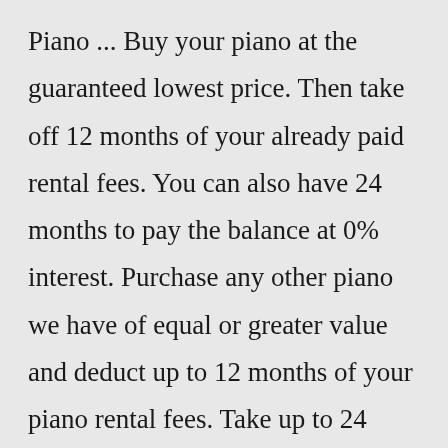Piano ... Buy your piano at the guaranteed lowest price. Then take off 12 months of your already paid rental fees. You can also have 24 months to pay the balance at 0% interest. Purchase any other piano we have of equal or greater value and deduct up to 12 months of your piano rental fees. Take up to 24 months to pay at 0% interest. 128 polyphony – Maximum polyphony among cheap electronic keyboards;